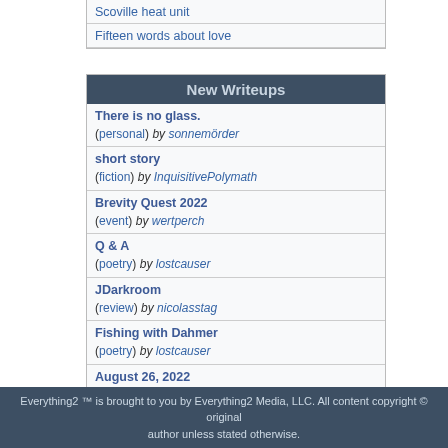Scoville heat unit
Fifteen words about love
New Writeups
There is no glass. (personal) by sonnemörder
short story (fiction) by InquisitivePolymath
Brevity Quest 2022 (event) by wertperch
Q & A (poetry) by lostcauser
JDarkroom (review) by nicolasstag
Fishing with Dahmer (poetry) by lostcauser
August 26, 2022 (log) by dmandave
tilt (review) by JD
close (poetry) by lostcauser
The literal horror of an existence (personal) by losthuskie
(more)
Everything2 ™ is brought to you by Everything2 Media, LLC. All content copyright © original author unless stated otherwise.